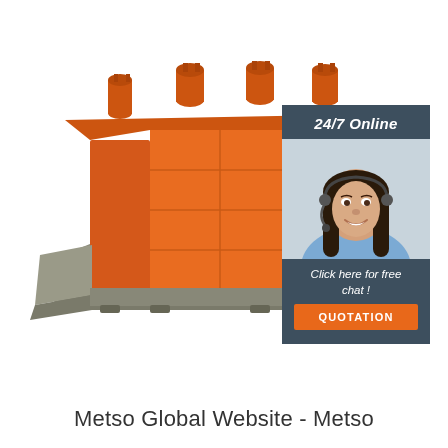[Figure (photo): Large orange industrial boiler/steam generator with gray base frame and chute, viewed from the front-left angle. Multiple cylindrical drums visible on top. Orange panel body with grid pattern visible on sides.]
[Figure (photo): Customer service agent panel: dark blue-gray background with '24/7 Online' text at top, photo of a smiling woman with dark hair wearing a headset and blue shirt, text 'Click here for free chat!' and an orange 'QUOTATION' button below.]
Metso Global Website - Metso